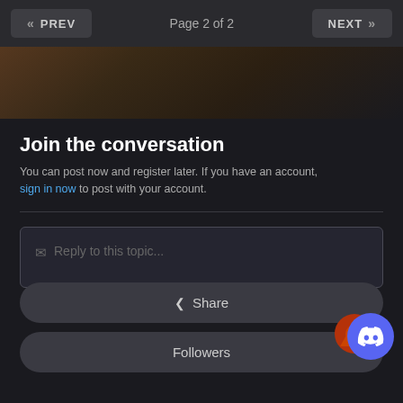PREV   Page 2 of 2   NEXT
[Figure (photo): Dark hero banner image with reddish-brown tones at the top of the content area]
Join the conversation
You can post now and register later. If you have an account, sign in now to post with your account.
Reply to this topic...
Share
Followers
[Figure (logo): Discord bot/app floating action button in blue circle with Discord logo]
[Figure (logo): Reddit-style orange circular badge partially behind Discord FAB]